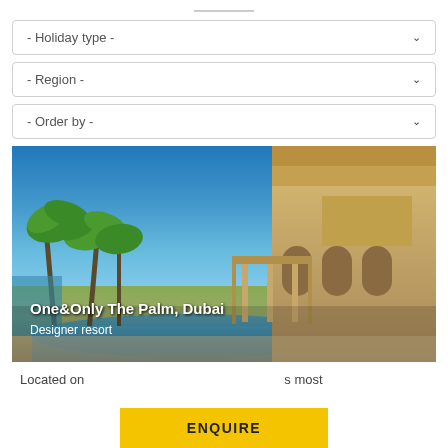[Figure (other): Horizontal divider line]
- Holiday type -
- Region -
- Order by -
[Figure (photo): Luxury resort photo showing One&Only The Palm, Dubai — palm trees on the left, ornate Middle Eastern architecture building on the right, blue sky, pool in the foreground]
One&Only The Palm, Dubai
Designer resort
Located on ... s most
ENQUIRE